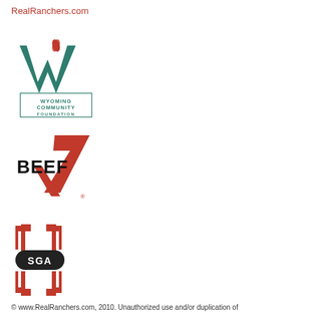RealRanchers.com
[Figure (logo): Wyoming Community Foundation logo with stylized teal/green W shape and red wheat motif above text reading WYOMING COMMUNITY FOUNDATION in a rectangular border]
[Figure (logo): BEEF logo with bold black text BEEF and a red checkmark/swoosh shape]
[Figure (logo): SGA logo with red block letters resembling brackets/pillars above and below an oval with SGA text]
© www.RealRanchers.com, 2010. Unauthorized use and/or duplication of